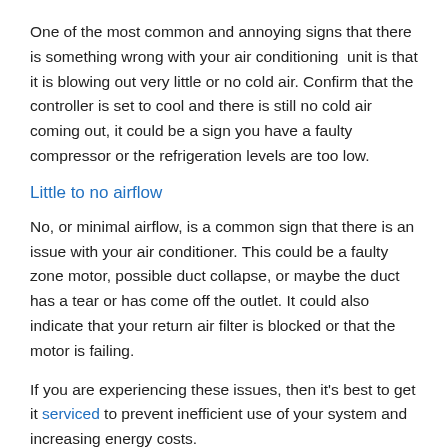One of the most common and annoying signs that there is something wrong with your air conditioning unit is that it is blowing out very little or no cold air. Confirm that the controller is set to cool and there is still no cold air coming out, it could be a sign you have a faulty compressor or the refrigeration levels are too low.
Little to no airflow
No, or minimal airflow, is a common sign that there is an issue with your air conditioner. This could be a faulty zone motor, possible duct collapse, or maybe the duct has a tear or has come off the outlet. It could also indicate that your return air filter is blocked or that the motor is failing.
If you are experiencing these issues, then it's best to get it serviced to prevent inefficient use of your system and increasing energy costs.
Weird noises